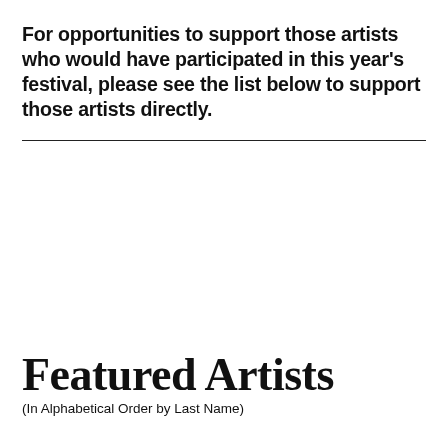For opportunities to support those artists who would have participated in this year's festival, please see the list below to support those artists directly.
Featured Artists
(In Alphabetical Order by Last Name)